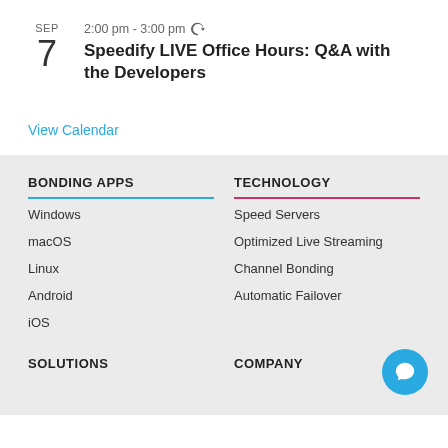SEP 7 — 2:00 pm - 3:00 pm
Speedify LIVE Office Hours: Q&A with the Developers
View Calendar
BONDING APPS
Windows
macOS
Linux
Android
iOS
TECHNOLOGY
Speed Servers
Optimized Live Streaming
Channel Bonding
Automatic Failover
SOLUTIONS
COMPANY